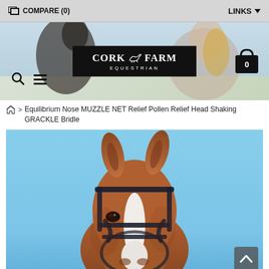☐ COMPARE (0)    LINKS ▾
[Figure (photo): Cork Farm Equestrian website hero banner showing a woman with a dark horse, with the Cork Farm Equestrian logo overlaid in the center, search and menu icons on the left, and a shopping cart icon on the right]
⌂ > Equilibrium Nose MUZZLE NET Relief Pollen Relief Head Shaking GRACKLE Bridle
[Figure (photo): Close-up photo of a chestnut horse's head with a white blaze, wearing a dark navy/black grackle bridle, photographed against a clear blue sky background]